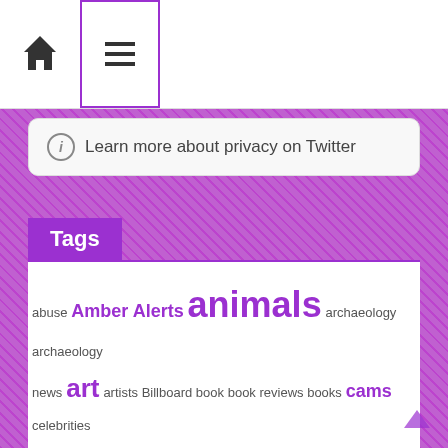Navigation bar with home icon and menu icon
ⓘ Learn more about privacy on Twitter
Tags
abuse Amber Alerts animals archaeology archaeology news art artists Billboard book book reviews books cams celebrities cookbooks COVID Covid 19 Cults Cults News entertainment Florida Hypermobile Ehlers Danlos Syndrome kidnapped live cams missing Missing Children movie reviews movies Music nature nature cams New music releases news penguins poetry poets politics press release recipes reviews sexual abuse television tv viral videos